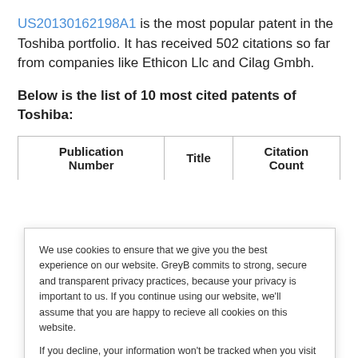US20130162198A1 is the most popular patent in the Toshiba portfolio. It has received 502 citations so far from companies like Ethicon Llc and Cilag Gmbh.
Below is the list of 10 most cited patents of Toshiba:
| Publication Number | Title | Citation Count |
| --- | --- | --- |
We use cookies to ensure that we give you the best experience on our website. GreyB commits to strong, secure and transparent privacy practices, because your privacy is important to us. If you continue using our website, we'll assume that you are happy to recieve all cookies on this website.

If you decline, your information won't be tracked when you visit this website. A single cookie will be used in your browser to remember your preference not to be tracked.